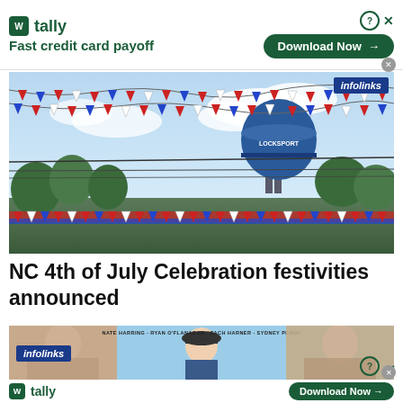[Figure (screenshot): Tally Fast credit card payoff advertisement banner with Download Now button, infolinks badge]
[Figure (photo): Outdoor scene with red, white, and blue bunting flags strung across, a blue water tower labeled Locksport in the background, trees and sky visible]
NC 4th of July Celebration festivities announced
[Figure (photo): Bottom advertisement strip showing a movie promotional banner with text: NATE HARRING, RYAN O'FLANAGAN, ZACH HARNER, SYDNEY PENNY, with infolinks badge overlay and blurred person images on sides]
[Figure (screenshot): Tally Fast credit card payoff advertisement banner with Download Now button at bottom of page]